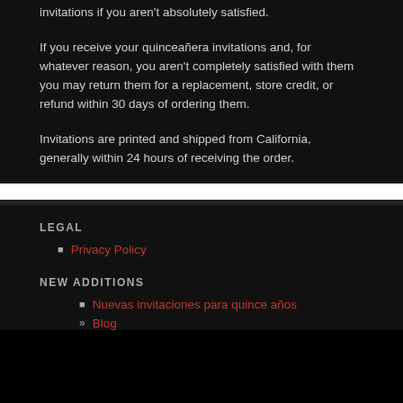invitations if you aren't absolutely satisfied.
If you receive your quinceañera invitations and, for whatever reason, you aren't completely satisfied with them you may return them for a replacement, store credit, or refund within 30 days of ordering them.
Invitations are printed and shipped from California, generally within 24 hours of receiving the order.
LEGAL
Privacy Policy
NEW ADDITIONS
Nuevas invitaciones para quince años
Blog